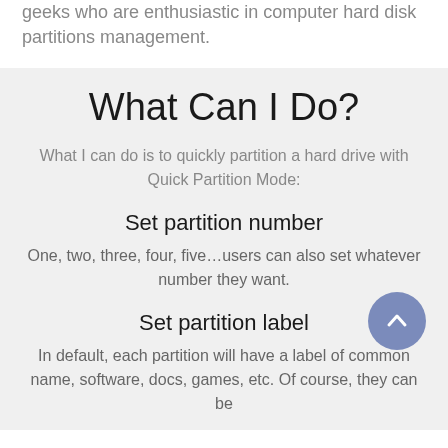geeks who are enthusiastic in computer hard disk partitions management.
What Can I Do?
What I can do is to quickly partition a hard drive with Quick Partition Mode:
Set partition number
One, two, three, four, five…users can also set whatever number they want.
Set partition label
In default, each partition will have a label of common name, software, docs, games, etc. Of course, they can be